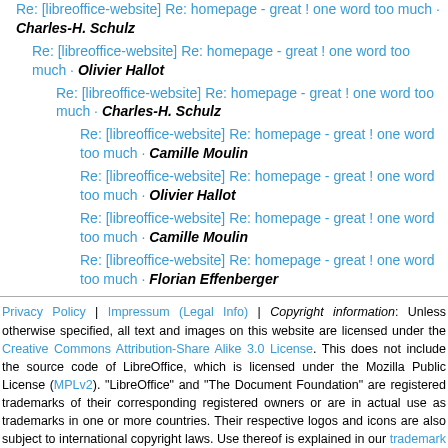Re: [libreoffice-website] Re: homepage - great ! one word too much · Charles-H. Schulz
Re: [libreoffice-website] Re: homepage - great ! one word too much · Olivier Hallot
Re: [libreoffice-website] Re: homepage - great ! one word too much · Charles-H. Schulz
Re: [libreoffice-website] Re: homepage - great ! one word too much · Camille Moulin
Re: [libreoffice-website] Re: homepage - great ! one word too much · Olivier Hallot
Re: [libreoffice-website] Re: homepage - great ! one word too much · Camille Moulin
Re: [libreoffice-website] Re: homepage - great ! one word too much · Florian Effenberger
Privacy Policy | Impressum (Legal Info) | Copyright information: Unless otherwise specified, all text and images on this website are licensed under the Creative Commons Attribution-Share Alike 3.0 License. This does not include the source code of LibreOffice, which is licensed under the Mozilla Public License (MPLv2). "LibreOffice" and "The Document Foundation" are registered trademarks of their corresponding registered owners or are in actual use as trademarks in one or more countries. Their respective logos and icons are also subject to international copyright laws. Use thereof is explained in our trademark policy.